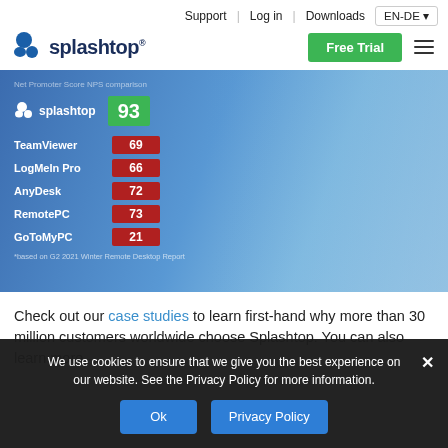Support | Log in | Downloads | EN-DE
[Figure (logo): Splashtop logo with icon and wordmark]
[Figure (infographic): Hero image showing Splashtop score 93 (green) vs TeamViewer 69, LogMeIn Pro 66, AnyDesk 72, RemotePC 73, GoToMyPC 21 (all red) — based on G2 2021 Winter Remote Desktop Report]
Check out our case studies to learn first-hand why more than 30 million customers worldwide choose Splashtop. You can also learn more about our pricing compared to the competitors.
We use cookies to ensure that we give you the best experience on our website. See the Privacy Policy for more information.